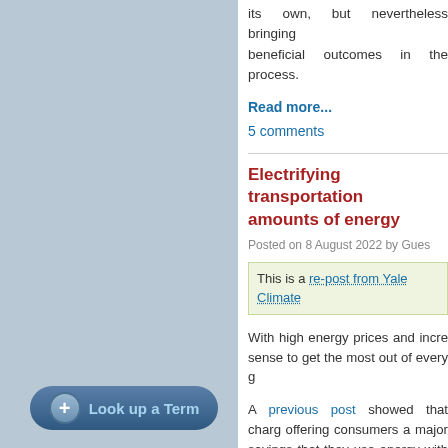its own, but nevertheless bringing beneficial outcomes in the process.
Read more...
5 comments
Electrifying transportation amounts of energy
Posted on 8 August 2022 by Gues
This is a re-post from Yale Climate
With high energy prices and incre sense to get the most out of every g
A previous post showed that charg offering consumers a major savings that they use energy with impressive
Delving deeper, there's a stark diffe engines use energy. The bad news. But the good news is that e money and energy. Even better: Re far less energy overall.
Look up a Term